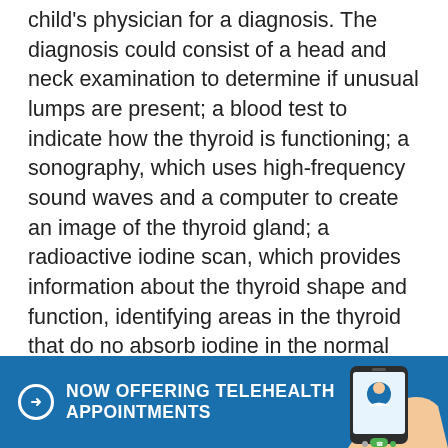child's physician for a diagnosis. The diagnosis could consist of a head and neck examination to determine if unusual lumps are present; a blood test to indicate how the thyroid is functioning; a sonography, which uses high-frequency sound waves and a computer to create an image of the thyroid gland; a radioactive iodine scan, which provides information about the thyroid shape and function, identifying areas in the thyroid that do no absorb iodine in the normal way; fine needle biopsy, removal for study of a small part of the tumor; and surgery, where a procedure known as a thyroid lobectomy, necessitates removal of the lobe of the thyroid gland that contains the tumor, for analy...
[Figure (infographic): Blue banner with telehealth appointment promotion text 'NOW OFFERING TELEHEALTH APPOINTMENTS' with arrow circle icon, and a hand holding a smartphone with a doctor on screen illustration]